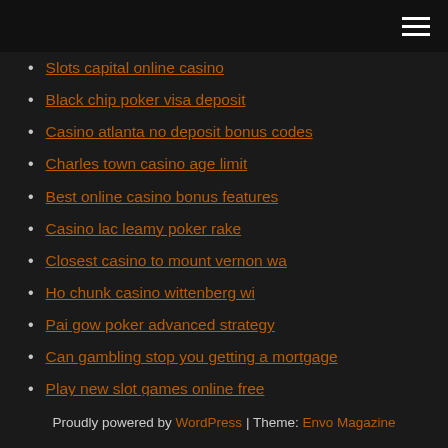[hamburger menu icon]
Slots capital online casino
Black chip poker visa deposit
Casino atlanta no deposit bonus codes
Charles town casino age limit
Best online casino bonus features
Casino lac leamy poker rake
Closest casino to mount vernon wa
Ho chunk casino wittenberg wi
Pai gow poker advanced strategy
Can gambling stop you getting a mortgage
Play new slot games online free
Proudly powered by WordPress | Theme: Envo Magazine